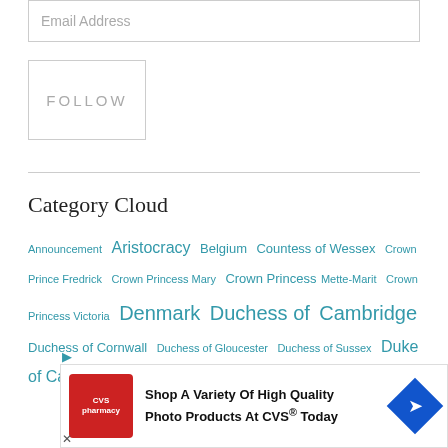Email Address
FOLLOW
Category Cloud
Announcement
Aristocracy
Belgium
Countess of Wessex
Crown Prince Fredrick
Crown Princess Mary
Crown Princess Mette-Marit
Crown Princess Victoria
Denmark
Duchess of Cambridge
Duchess of Cornwall
Duchess of Gloucester
Duchess of Sussex
Duke of Cambridge
Duke of Edinburgh
[Figure (screenshot): CVS Pharmacy advertisement banner: Shop A Variety Of High Quality Photo Products At CVS Today]